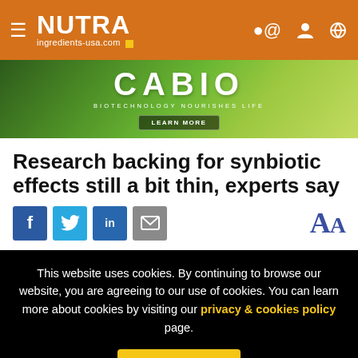NUTRA ingredients-usa.com
[Figure (illustration): CABIO advertisement banner — green gradient background with CABIO logo, tagline 'BIOTECHNOLOGY NOURISHES LIFE', and 'LEARN MORE' button]
Research backing for synbiotic effects still a bit thin, experts say
[Figure (infographic): Social share icons (Facebook, Twitter, LinkedIn, Email) and font-size AA buttons]
This website uses cookies. By continuing to browse our website, you are agreeing to our use of cookies. You can learn more about cookies by visiting our privacy & cookies policy page.